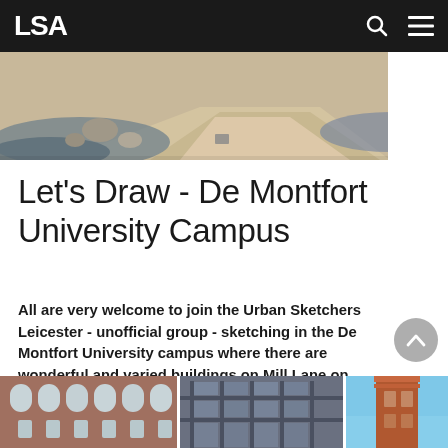LSA
[Figure (photo): Aerial or close-up view of a landscaped path with rocks and blue/purple ground cover plants]
Let's Draw - De Montfort University Campus
All are very welcome to join the Urban Sketchers Leicester - unofficial group - sketching in the De Montfort University campus where there are wonderful and varied buildings on Mill Lane on Saturday 3 November from 11am - 3.30pm
[Figure (photo): Three photos of De Montfort University campus buildings - red brick building on left, modern structure in center, tower/chimney on right]